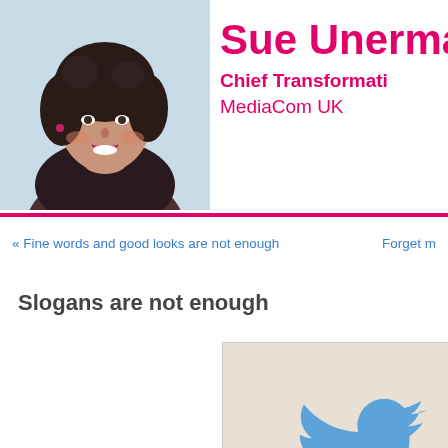[Figure (photo): Portrait photo of Sue Unerman, a woman with dark curly hair, smiling, on a light blue background]
Sue Unerman
Chief Transformation Officer
MediaCom UK
« Fine words and good looks are not enough
Forget m…
Slogans are not enough
[Figure (logo): Twitter bird logo in blue on a light beige/tan background]